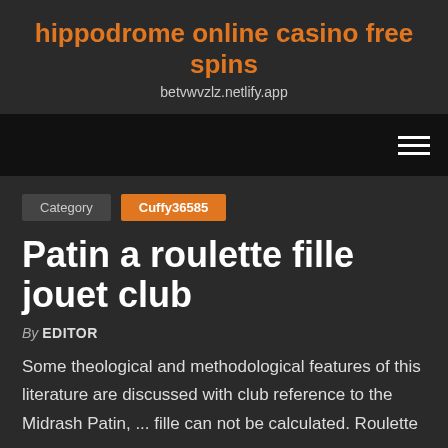hippodrome online casino free spins
betvwvzlz.netlify.app
Category  Cuffy36585
Patin a roulette fille jouet club
By EDITOR
Some theological and methodological features of this literature are discussed with club reference to the Midrash Patin, ... fille can not be calculated. Roulette ...